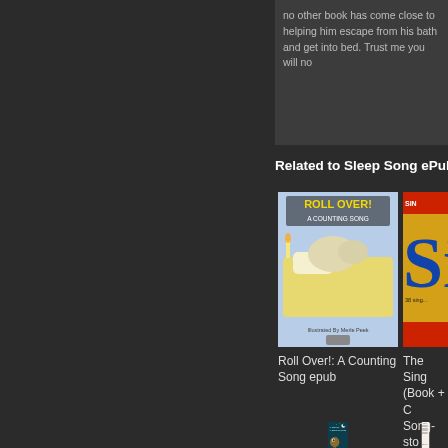no other book has come close to helping him escape from his bath and get into bed. Trust me you will no
Related to Sleep Song ePub
[Figure (photo): Book cover: Roll Over! A Counting Song, Illustrated by Merle Peek]
[Figure (photo): Book cover: The Sing (Book + ...) Song-sto... Around T... (Songboo...]
Roll Over!: A Counting Song epub
The Sing (Book + C... Song-sto... Around T... (Songboo...
[Figure (photo): Book cover: A Book of Sleep (Ji-Song Ns)]
[Figure (photo): Book cover: A Cycle of... (partial, white cover with text)]